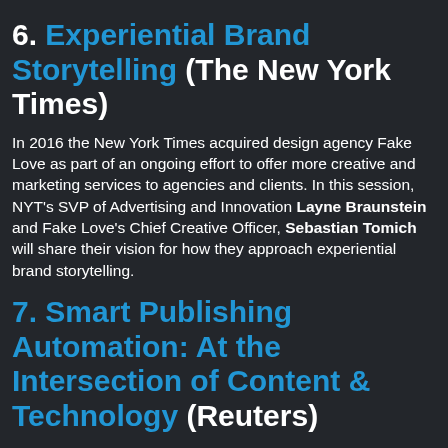6. Experiential Brand Storytelling (The New York Times)
In 2016 the New York Times acquired design agency Fake Love as part of an ongoing effort to offer more creative and marketing services to agencies and clients. In this session, NYT's SVP of Advertising and Innovation Layne Braunstein and Fake Love's Chief Creative Officer, Sebastian Tomich will share their vision for how they approach experiential brand storytelling.
7. Smart Publishing Automation: At the Intersection of Content & Technology (Reuters)